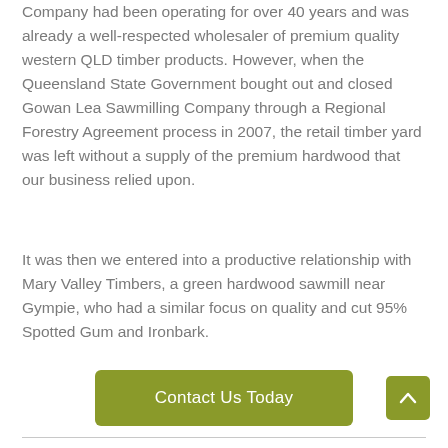Company had been operating for over 40 years and was already a well-respected wholesaler of premium quality western QLD timber products. However, when the Queensland State Government bought out and closed Gowan Lea Sawmilling Company through a Regional Forestry Agreement process in 2007, the retail timber yard was left without a supply of the premium hardwood that our business relied upon.
It was then we entered into a productive relationship with Mary Valley Timbers, a green hardwood sawmill near Gympie, who had a similar focus on quality and cut 95% Spotted Gum and Ironbark.
[Figure (other): Green button labeled 'Contact Us Today']
[Figure (other): Olive/green scroll-to-top button with upward chevron arrow, bottom right corner]